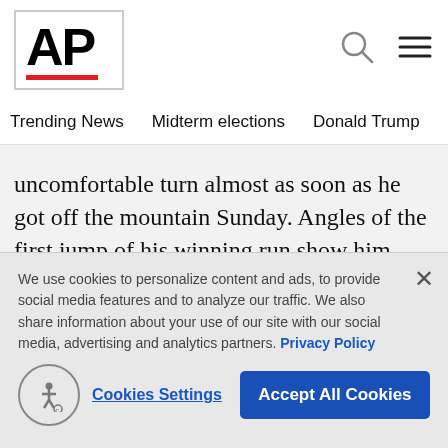[Figure (logo): AP (Associated Press) logo with red underbar]
Trending News   Midterm elections   Donald Trump   Russia-Ukr
uncomfortable turn almost as soon as he got off the mountain Sunday. Angles of the first jump of his winning run show him grabbing his knee when the judges scored his run as though he'd grabbed his board — a key element in the event.

The snowboarding community was up in arms. When
We use cookies to personalize content and ads, to provide social media features and to analyze our traffic. We also share information about your use of our site with our social media, advertising and analytics partners. Privacy Policy
Cookies Settings   Accept All Cookies